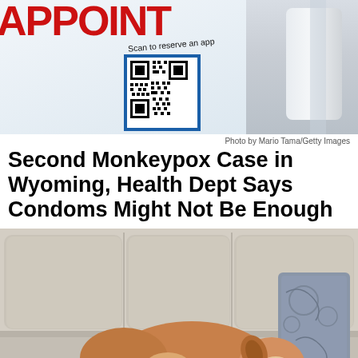[Figure (photo): Photo of a vaccine appointment sign with QR code and text 'APPOINT' and 'Scan to reserve an app...' with medical items in background]
Photo by Mario Tama/Getty Images
Second Monkeypox Case in Wyoming, Health Dept Says Condoms Might Not Be Enough
[Figure (photo): Photo of a brown and white dog sleeping on a couch cushion with pillows around it]